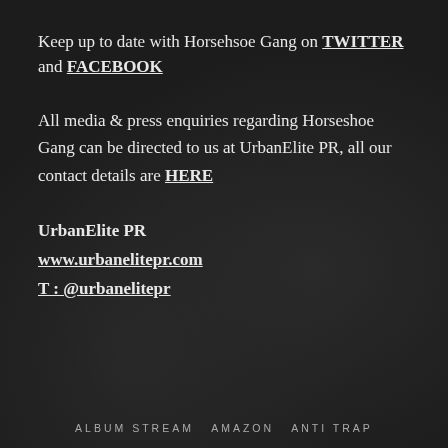Keep up to date with Horsehsoe Gang on TWITTER and FACEBOOK
All media & press enquiries regarding Horseshoe Gang can be directed to us at UrbanElite PR, all our contact details are HERE
UrbanElite PR
www.urbanelitepr.com
T : @urbanelitepr
ALBUM STREAM  AMAZON  ANTI TRAP